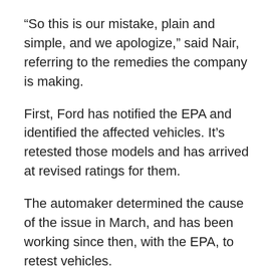“So this is our mistake, plain and simple, and we apologize,” said Nair, referring to the remedies the company is making.
First, Ford has notified the EPA and identified the affected vehicles. It’s retested those models and has arrived at revised ratings for them.
The automaker determined the cause of the issue in March, and has been working since then, with the EPA, to retest vehicles.
Separately, Ford will make goodwill payments to owners of approximately 200,000 affected vehicles for the difference between the previous and revised ratings. The